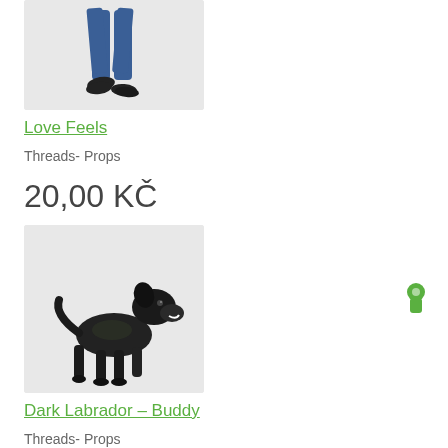[Figure (photo): Partial image of person walking, showing legs in jeans from knees down on light gray background]
Love Feels
Threads- Props
20,00 KČ
[Figure (photo): 3D rendered dark black Labrador dog standing and looking up, on light gray background]
Dark Labrador – Buddy
Threads- Props
20,00 KČ